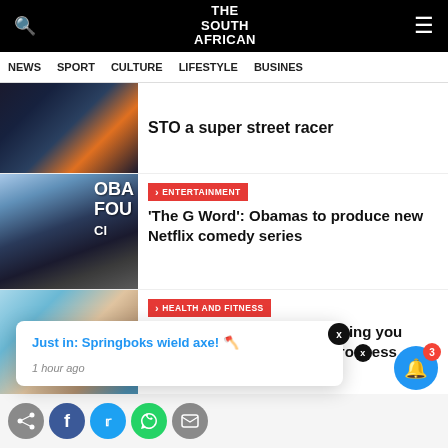THE SOUTH AFRICAN — Navigation: NEWS, SPORT, CULTURE, LIFESTYLE, BUSINESS
STO a super street racer
ENTERTAINMENT — 'The G Word': Obamas to produce new Netflix comedy series
HEALTH AND FITNESS — COVID-19 vaccines: Everything you need to know about their progress
Just in: Springboks wield axe! 🪓
1 hour ago